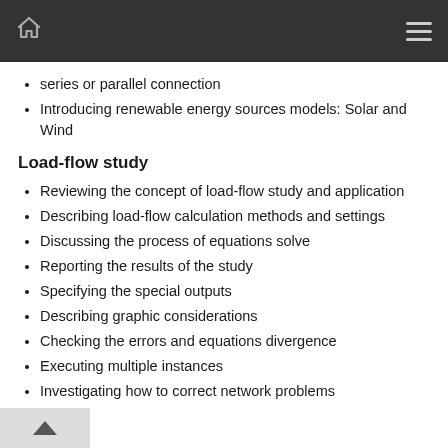series or parallel connection
Introducing renewable energy sources models: Solar and Wind
Load-flow study
Reviewing the concept of load-flow study and application
Describing load-flow calculation methods and settings
Discussing the process of equations solve
Reporting the results of the study
Specifying the special outputs
Describing graphic considerations
Checking the errors and equations divergence
Executing multiple instances
Investigating how to correct network problems